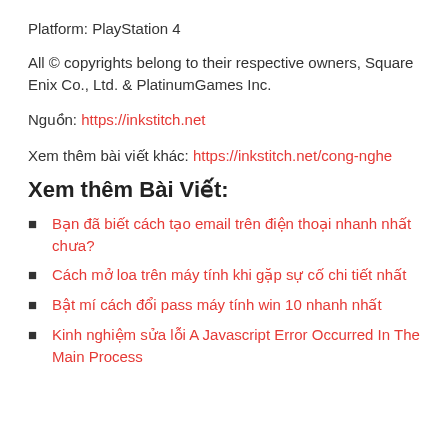Platform: PlayStation 4
All © copyrights belong to their respective owners, Square Enix Co., Ltd. & PlatinumGames Inc.
Nguồn: https://inkstitch.net
Xem thêm bài viết khác: https://inkstitch.net/cong-nghe
Xem thêm Bài Viết:
Bạn đã biết cách tạo email trên điện thoại nhanh nhất chưa?
Cách mở loa trên máy tính khi gặp sự cố chi tiết nhất
Bật mí cách đổi pass máy tính win 10 nhanh nhất
Kinh nghiệm sửa lỗi A Javascript Error Occurred In The Main Process